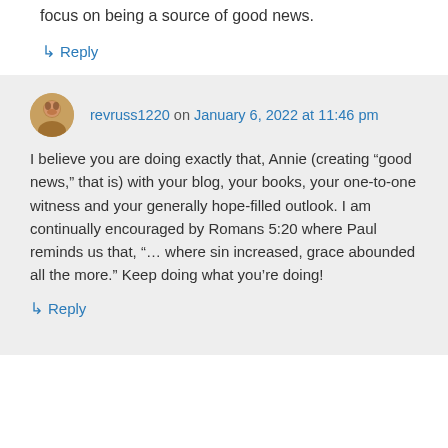focus on being a source of good news.
↳ Reply
revruss1220 on January 6, 2022 at 11:46 pm
I believe you are doing exactly that, Annie (creating “good news,” that is) with your blog, your books, your one-to-one witness and your generally hope-filled outlook. I am continually encouraged by Romans 5:20 where Paul reminds us that, “… where sin increased, grace abounded all the more.” Keep doing what you’re doing!
↳ Reply